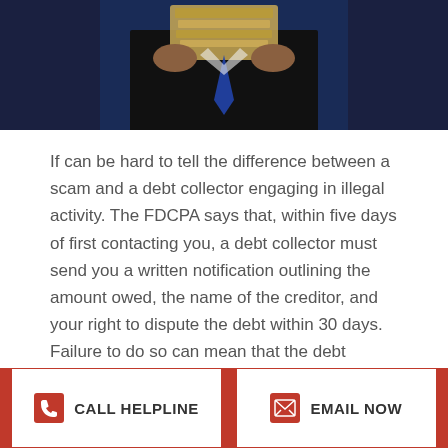[Figure (photo): Person in dark suit holding cash money, photographed against blue/dark background, cropped to show hands and torso]
If can be hard to tell the difference between a scam and a debt collector engaging in illegal activity. The FDCPA says that, within five days of first contacting you, a debt collector must send you a written notification outlining the amount owed, the name of the creditor, and your right to dispute the debt within 30 days. Failure to do so can mean that the debt collector is a scammer, or it could mean that the debt collection agency is violating the FDCPA.
The same holds true if the debt collector threatens you with:
[Figure (infographic): Call Helpline and Email Now buttons in red footer bar with icons]
CALL HELPLINE | EMAIL NOW